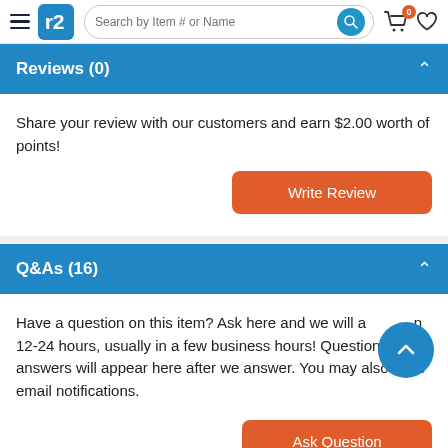Search by Item # or Name
Reviews (0)
Share your review with our customers and earn $2.00 worth of points!
Q&As (16)
Have a question on this item? Ask here and we will answer in 12-24 hours, usually in a few business hours! Questions and answers will appear here after we answer. You may also have email notifications.